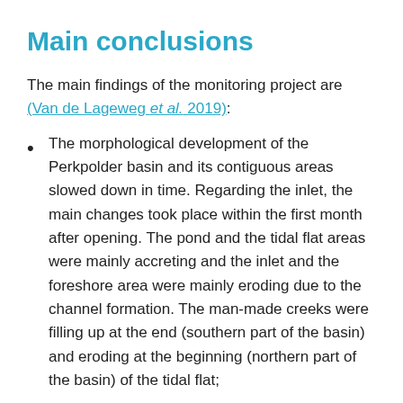Main conclusions
The main findings of the monitoring project are (Van de Lageweg et al. 2019):
The morphological development of the Perkpolder basin and its contiguous areas slowed down in time. Regarding the inlet, the main changes took place within the first month after opening. The pond and the tidal flat areas were mainly accreting and the inlet and the foreshore area were mainly eroding due to the channel formation. The man-made creeks were filling up at the end (southern part of the basin) and eroding at the beginning (northern part of the basin) of the tidal flat;
The sediment import varied strongly in time and sediment was also being exported for a number of tides. Over the 5 months of measurement data, the